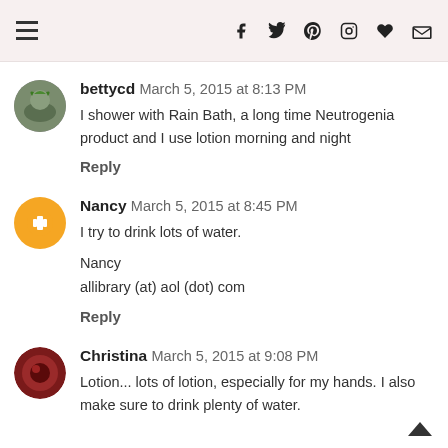≡  f  🐦  p  📷  ♥  ✉
bettycd  March 5, 2015 at 8:13 PM
I shower with Rain Bath, a long time Neutrogenia product and I use lotion morning and night
Reply
Nancy  March 5, 2015 at 8:45 PM
I try to drink lots of water.

Nancy
allibrary (at) aol (dot) com
Reply
Christina  March 5, 2015 at 9:08 PM
Lotion... lots of lotion, especially for my hands. I also make sure to drink plenty of water.
Reply